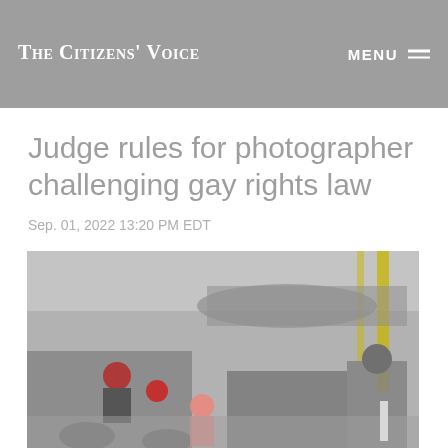The Citizens' Voice
Judge rules for photographer challenging gay rights law
Sep. 01, 2022 13:20 PM EDT
[Figure (photo): Street scene with people on scooters and motorcycles in the foreground, pedestrians in the background, appears to be an urban setting in Asia]